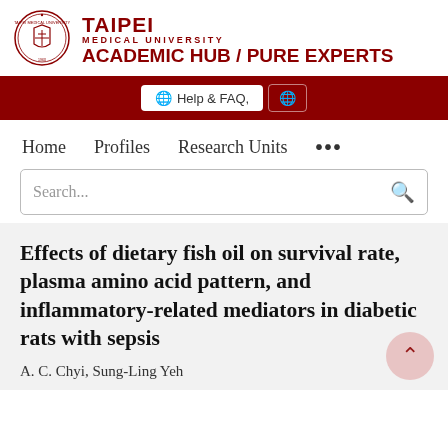[Figure (logo): Taipei Medical University seal/crest logo with red circular emblem]
TAIPEI
MEDICAL UNIVERSITY
ACADEMIC HUB / PURE EXPERTS
Help & FAQ,
Home   Profiles   Research Units   ...
Search...
Effects of dietary fish oil on survival rate, plasma amino acid pattern, and inflammatory-related mediators in diabetic rats with sepsis
A. C. Chyi, Sung-Ling Yeh